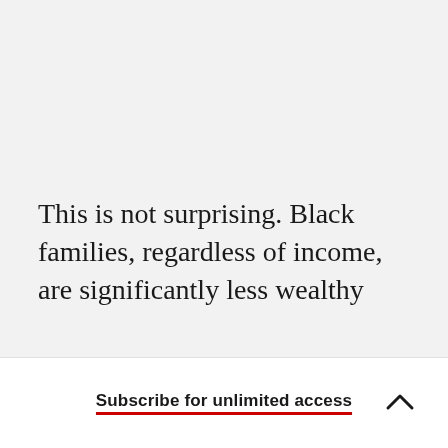This is not surprising. Black families, regardless of income, are significantly less wealthy than white families. The Pew Research Center reported...
Subscribe for unlimited access